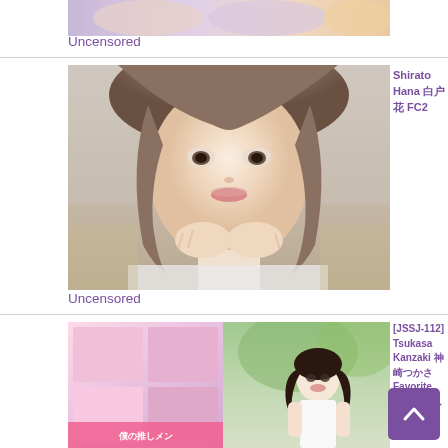[Figure (photo): Partial cropped image at top of page showing female subject]
Uncensored
[Figure (photo): Portrait photo of Shirato Hana, young woman with short brown hair, resting chin on hands, wearing white top]
Shirato Hana 白戸花 FC2
Uncensored
[Figure (photo): [JSSJ-112] Tsukasa Kanzaki product image showing idol/gravure content collage on left and outdoor portrait on right]
[JSSJ-112] Tsukasa Kanzaki 神崎つかさ Favorite 僕の推しメン